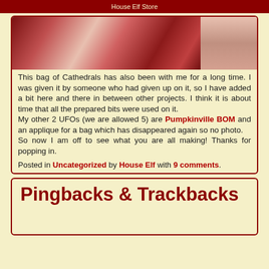House Elf Store
[Figure (photo): Photo of a bag of Cathedral quilt pieces in red and patterned fabric]
This bag of Cathedrals has also been with me for a long time. I was given it by someone who had given up on it, so I have added a bit here and there in between other projects. I think it is about time that all the prepared bits were used on it.
My other 2 UFOs (we are allowed 5) are Pumpkinville BOM and an applique for a bag which has disappeared again so no photo.
So now I am off to see what you are all making! Thanks for popping in.
Posted in Uncategorized by House Elf with 9 comments.
Pingbacks & Trackbacks